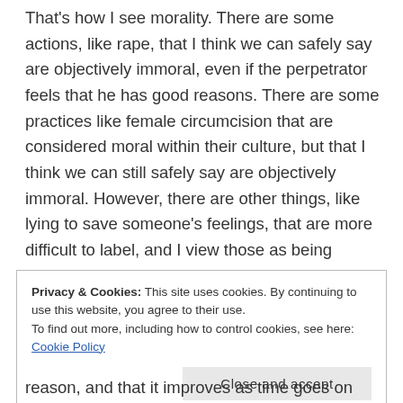That's how I see morality. There are some actions, like rape, that I think we can safely say are objectively immoral, even if the perpetrator feels that he has good reasons. There are some practices like female circumcision that are considered moral within their culture, but that I think we can still safely say are objectively immoral. However, there are other things, like lying to save someone's feelings, that are more difficult to label, and I view those as being subjective.
Privacy & Cookies: This site uses cookies. By continuing to use this website, you agree to their use.
To find out more, including how to control cookies, see here: Cookie Policy
reason, and that it improves as time goes on